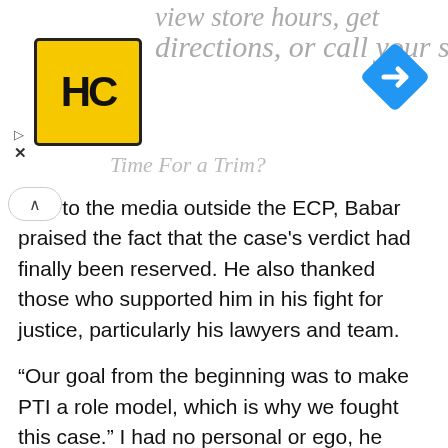[Figure (other): Advertisement banner with HC logo (yellow square with HC text), greyed italic text 'view store hours, get directions, or call your salon!' and a blue diamond navigation arrow icon, with 'Time For a Trim?' subtext, play and close buttons.]
king to the media outside the ECP, Babar praised the fact that the case's verdict had finally been reserved. He also thanked those who supported him in his fight for justice, particularly his lawyers and team.
“Our goal from the beginning was to make PTI a role model, which is why we fought this case.” I had no personal or ego, he said, adding that he had spent many years forming the PTI.
“Change happens when you become a role model,” Babar said. He went on to say that for the first time in Pakistani history, the founding members of a political party had come forward to serve as a model for others.